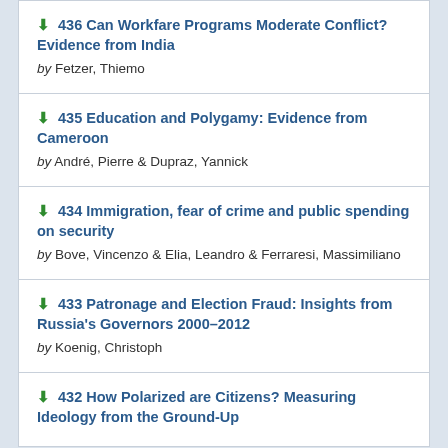436 Can Workfare Programs Moderate Conflict? Evidence from India by Fetzer, Thiemo
435 Education and Polygamy: Evidence from Cameroon by André, Pierre & Dupraz, Yannick
434 Immigration, fear of crime and public spending on security by Bove, Vincenzo & Elia, Leandro & Ferraresi, Massimiliano
433 Patronage and Election Fraud: Insights from Russia's Governors 2000–2012 by Koenig, Christoph
432 How Polarized are Citizens? Measuring Ideology from the Ground-Up